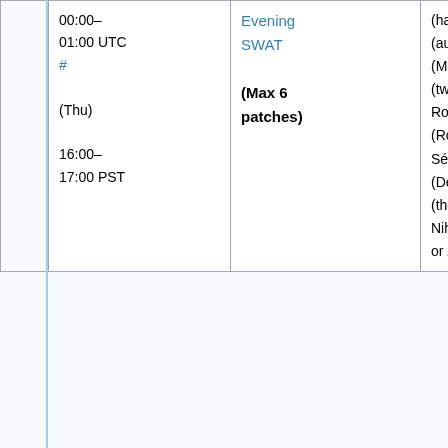| Time | Component | Deployers |
| --- | --- | --- |
| 00:00–01:00 UTC # (Thu) 16:00–17:00 PST | Evening SWAT (Max 6 patches) | (hashar), Katie (aude), Max (MaxSem), Muk (twentyafter), Roan (RoanKattouw), Sébastien (Dereckson), T (thcipriani), Niharika (Niha), or Željko (zelj) |
Week of January 14th
Week of:
nothing yet...
By day
| Time | Component | Deployers |
| --- | --- | --- |